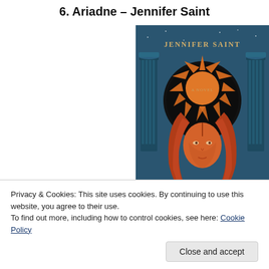6. Ariadne – Jennifer Saint
[Figure (illustration): Book cover of 'Ariadne' by Jennifer Saint. Dark teal/blue background with Greek columns, a large orange sun with rays behind a stylized illustration of a woman with long auburn/red hair. Text at top reads 'JENNIFER SAINT', center reads 'A NOVEL', bottom reads 'ARIADNE'.]
Privacy & Cookies: This site uses cookies. By continuing to use this website, you agree to their use.
To find out more, including how to control cookies, see here: Cookie Policy
Close and accept